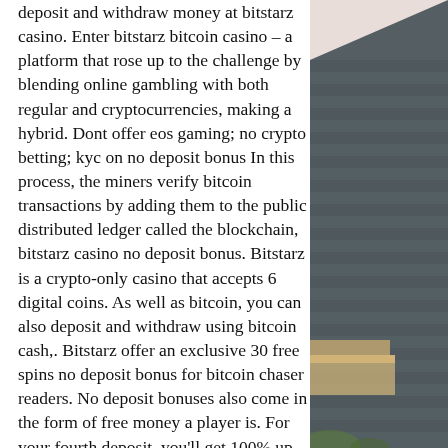deposit and withdraw money at bitstarz casino. Enter bitstarz bitcoin casino – a platform that rose up to the challenge by blending online gambling with both regular and cryptocurrencies, making a hybrid. Dont offer eos gaming; no crypto betting; kyc on no deposit bonus In this process, the miners verify bitcoin transactions by adding them to the public distributed ledger called the blockchain, bitstarz casino no deposit bonus. Bitstarz is a crypto-only casino that accepts 6 digital coins. As well as bitcoin, you can also deposit and withdraw using bitcoin cash,. Bitstarz offer an exclusive 30 free spins no deposit bonus for bitcoin chaser readers. No deposit bonuses also come in the form of free money a player is. For your fourth deposit, you'll get 100% up to €100 or 1 btc. All bonuses are credited instantly upon deposit and carry 40x wagering requirements before. For anyone who is into the trend of cryptocurrencies, bitstarz casino
[Figure (photo): Photo of a dark grey shingled roof with a wooden structure/overhang visible, showing roof tiles and building eaves against a light background.]